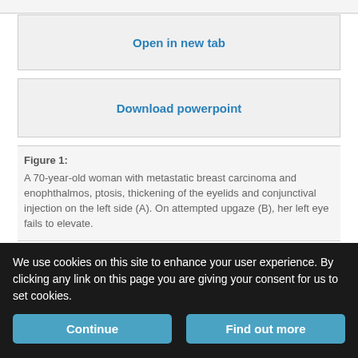Open in new tab
Download powerpoint
Figure 1:
A 70-year-old woman with metastatic breast carcinoma and enophthalmos, ptosis, thickening of the eyelids and conjunctival injection on the left side (A). On attempted upgaze (B), her left eye fails to elevate.
Orbital computed tomography (Appendix 1, available at www.cmaj.ca/lookup/suppl/doi:10.1503/cmaj.120726/-/DC1) showed an ill-defined mass in the left anterosuperior orbit. The biopsy results were consistent with estrogen-receptor–positive and HER2-negative
We use cookies on this site to enhance your user experience. By clicking any link on this page you are giving your consent for us to set cookies.
Continue
Find out more